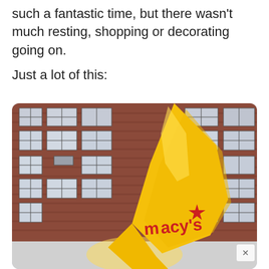such a fantastic time, but there wasn't much resting, shopping or decorating going on.
Just a lot of this:
[Figure (photo): A large yellow Macy's star balloon float from the Macy's Thanksgiving Day Parade, in front of a red brick apartment building with many windows]